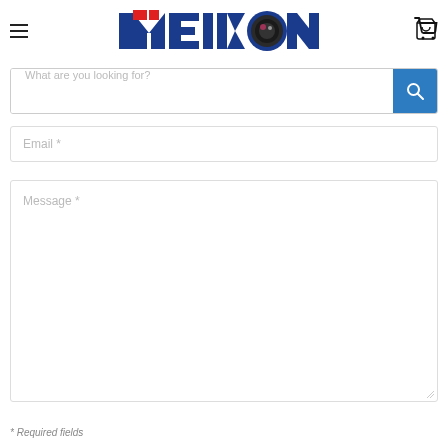[Figure (logo): Meikon brand logo with camera lens icon, red and dark blue stylized text]
What are you looking for?
Email *
Message *
* Required fields